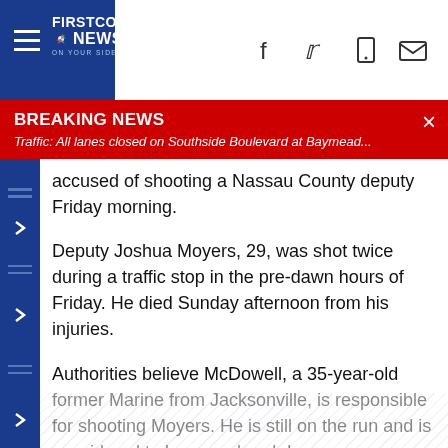FIRST COAST NEWS
BREAKING NEWS
Traffic: All lanes closed on Southside Boulevard at Baymead...
accused of shooting a Nassau County deputy Friday morning.
Deputy Joshua Moyers, 29, was shot twice during a traffic stop in the pre-dawn hours of Friday. He died Sunday afternoon from his injuries.
Authorities believe McDowell, a 35-year-old former Marine from Jacksonville, is responsible for shooting Moyers. He is still on the run and is considered to be armed and dangerous.